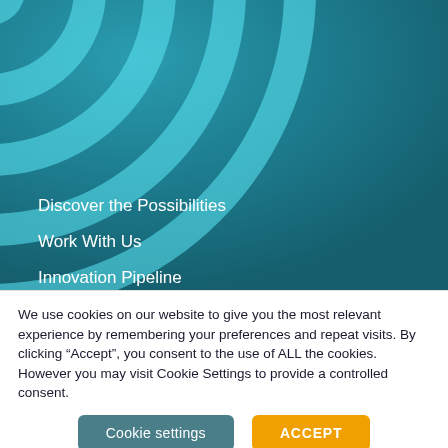[Figure (illustration): Teal/cyan concentric arc rings decorative graphic in the upper-left corner of a teal gradient background]
Discover the Possibilities
Work With Us
Innovation Pipeline
Investors
News
We use cookies on our website to give you the most relevant experience by remembering your preferences and repeat visits. By clicking “Accept”, you consent to the use of ALL the cookies. However you may visit Cookie Settings to provide a controlled consent.
Cookie settings | ACCEPT